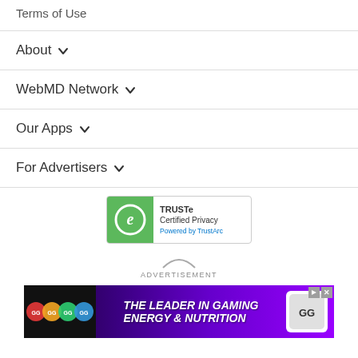Terms of Use
About
WebMD Network
Our Apps
For Advertisers
[Figure (logo): TRUSTe Certified Privacy badge - green square with stylized e logo, text: TRUSTe Certified Privacy, Powered by TrustArc]
ADVERTISEMENT
[Figure (photo): Gaming energy drink advertisement banner: GG brand energy drink cans on dark purple background with text THE LEADER IN GAMING ENERGY & NUTRITION and GG logo]